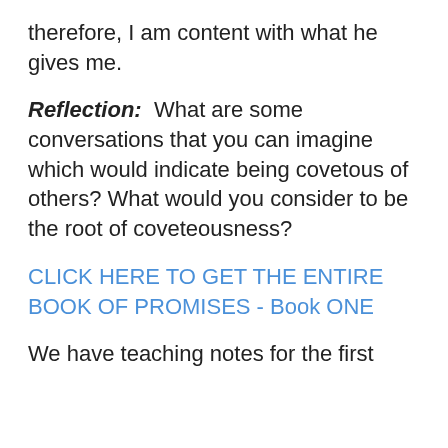therefore, I am content with what he gives me.
Reflection:  What are some conversations that you can imagine which would indicate being covetous of others? What would you consider to be the root of coveteousness?
CLICK HERE TO GET THE ENTIRE BOOK OF PROMISES - Book ONE
We have teaching notes for the first